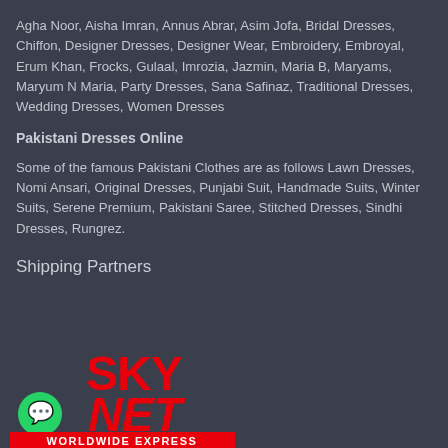Agha Noor, Aisha Imran, Annus Abrar, Asim Jofa, Bridal Dresses, Chiffon, Designer Dresses, Designer Wear, Embroidery, Embroyal, Erum Khan, Frocks, Gulaal, Imrozia, Jazmin, Maria B, Maryams, Maryum N Maria, Party Dresses, Sana Safinaz, Traditional Dresses, Wedding Dresses, Women Dresses
Pakistani Dresses Online
Some of the famous Pakistani Clothes are as follows Lawn Dresses, Nomi Ansari, Original Dresses, Punjabi Suit, Handmade Suits, Winter Suits, Serene Premium, Pakistani Saree, Stitched Dresses, Sindhi Dresses, Rungrez.
Shipping Partners
[Figure (logo): SKY NET WORLDWIDE EXPRESS logo in red with a WhatsApp icon on the left]